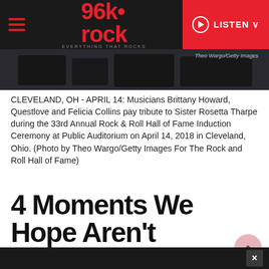96k-rock — EVERYTHING THAT ROCKS | LISTEN
[Figure (photo): Dark photo strip showing musicians at Rock Hall event, with overlay text 'Theo Wargo/Getty Images']
CLEVELAND, OH - APRIL 14: Musicians Brittany Howard, Questlove and Felicia Collins pay tribute to Sister Rosetta Tharpe during the 33rd Annual Rock & Roll Hall of Fame Induction Ceremony at Public Auditorium on April 14, 2018 in Cleveland, Ohio. (Photo by Theo Wargo/Getty Images For The Rock and Roll Hall of Fame)
4 Moments We Hope Aren't Cut/Edited From The Rock Hall